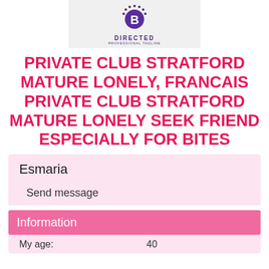[Figure (logo): DIRECTED professional tagline logo with circular B icon in purple]
PRIVATE CLUB STRATFORD MATURE LONELY, FRANCAIS PRIVATE CLUB STRATFORD MATURE LONELY SEEK FRIEND ESPECIALLY FOR BITES
Esmaria
Send message
Information
My age: 40